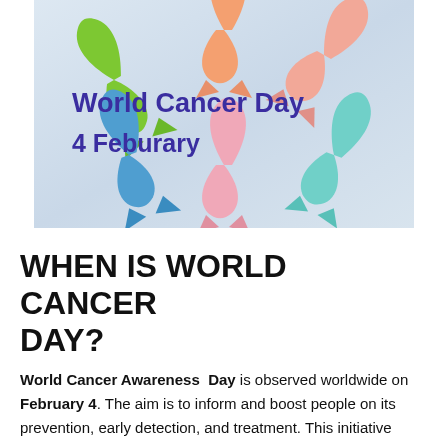[Figure (photo): Photo of colorful cancer awareness ribbons (green, orange/peach, pink, blue, light blue/teal) arranged in a circular pattern on a light grey-blue background, with bold purple text overlaid reading 'World Cancer Day 4 Feburary']
WHEN IS WORLD CANCER DAY?
World Cancer Awareness Day is observed worldwide on February 4. The aim is to inform and boost people on its prevention, early detection, and treatment. This initiative